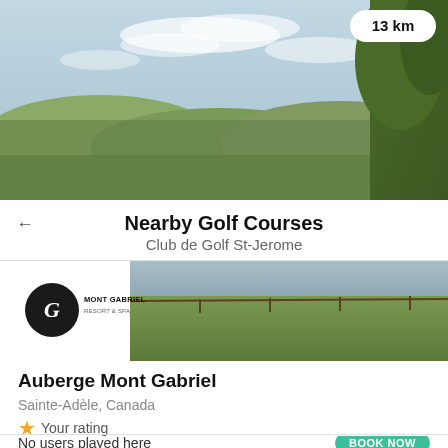[Figure (photo): Aerial landscape photo of rolling hills with autumn foliage under a partly cloudy sky. Distance badge showing 13 km in top right corner.]
Nearby Golf Courses
Club de Golf St-Jerome
[Figure (photo): Golf course photo showing green fairway with Mont Gabriel Resort & Spa logo overlay on the left side.]
Auberge Mont Gabriel
Sainte-Adèle, Canada
★ Your rating
No users played here
BOOK NOW